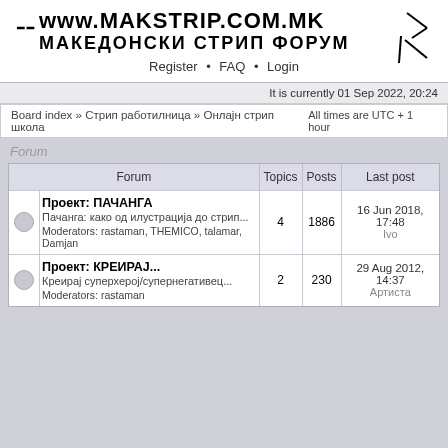www.MAKSTRIP.COM.MK МАКЕДОНСКИ СТРИП ФОРУМ
Register • FAQ • Login
It is currently 01 Sep 2022, 20:24
Board index » Стрип работилница » Онлајн стрип школа   All times are UTC + 1 hour
Forum
| Forum | Topics | Posts | Last post |
| --- | --- | --- | --- |
| Проект: ПАЧАНГА
Пачанга: како од илустрација до стрип...
Moderators: rastaman, THEMICO, talamar, Damjan | 4 | 1886 | 16 Jun 2018, 17:48
Ivo |
| Проект: КРЕИРАЈ...
Креирај суперхерој/супернегативец...
Moderators: rastaman | 2 | 230 | 29 Aug 2012, 14:37
Артиста |